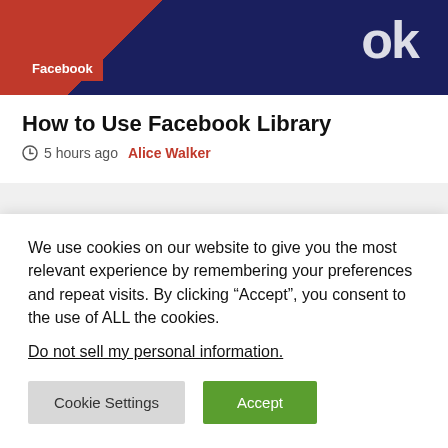[Figure (photo): Facebook logo image with dark blue dotted pattern and red diagonal stripe. White text visible showing partial word ending in 'ok'.]
Facebook
How to Use Facebook Library
5 hours ago  Alice Walker
Today's Latest
[Figure (photo): Two partial thumbnail images side by side, partially visible at the bottom of the section area.]
We use cookies on our website to give you the most relevant experience by remembering your preferences and repeat visits. By clicking “Accept”, you consent to the use of ALL the cookies.
Do not sell my personal information.
Cookie Settings
Accept